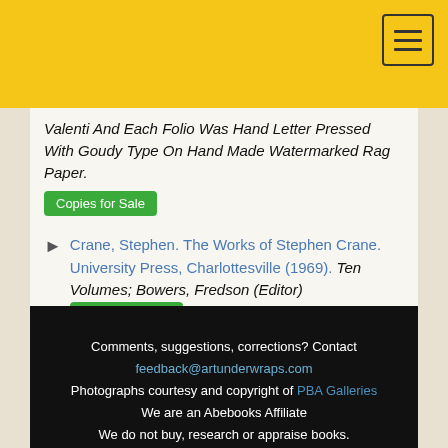Valenti And Each Folio Was Hand Letter Pressed With Goudy Type On Hand Made Watermarked Rag Paper. [Copies for Sale]
Crane, Stephen. The Works of Stephen Crane. University Press, Charlottesville (1969). Ten Volumes; Bowers, Fredson (Editor) [Copies for Sale]
Comments, suggestions, corrections? Contact feedback@artunderwraps.com Photographs courtesy and copyright of PBA Galleries We are an Abebooks Affiliate We do not buy, research or appraise books. © 2019 Dunkin Enterprises, LLC